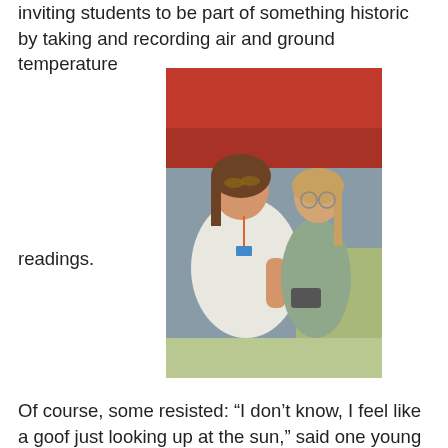inviting students to be part of something historic by taking and recording air and ground temperature readings.
[Figure (photo): Two females, an adult woman and a teenage girl, standing outdoors near a red car. The woman is leaning toward the girl who appears to be holding a device. Both are looking downward at the device.]
Of course, some resisted: “I don’t know, I feel like a goof just looking up at the sun,” said one young man.
But for others, the selling point was the chance to feed information directly into NASA databases and to collect information that would become a part of scientific discovery.